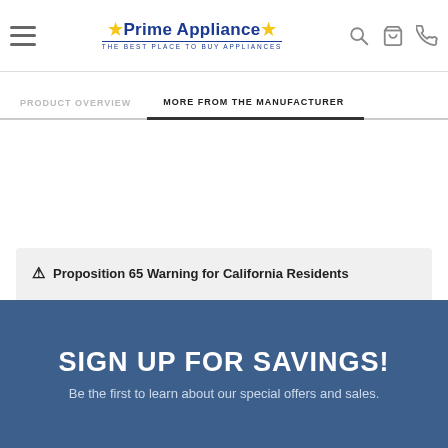Prime Appliance — The Best Place to Buy Appliances
PRODUCT OVERVIEW | MORE FROM THE MANUFACTURER
⚠ Proposition 65 Warning for California Residents
Learn More
SIGN UP FOR SAVINGS!
Be the first to learn about our special offers and sales.